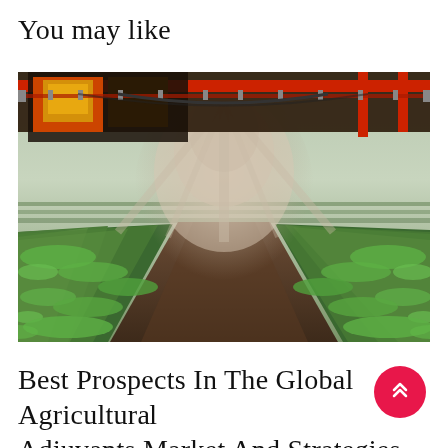You may like
[Figure (photo): Agricultural sprayer machine spraying pesticides or herbicides over rows of green crops in a field, with mist visible in the air. Red machinery visible at top.]
Best Prospects In The Global Agricultural Adjuvants Market And Strategies For